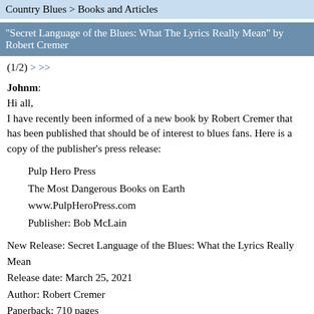Country Blues > Books and Articles
"Secret Language of the Blues: What The Lyrics Really Mean" by Robert Cremer
(1/2) > >>
Johnm:
Hi all,
I have recently been informed of a new book by Robert Cremer that has been published that should be of interest to blues fans. Here is a copy of the publisher's press release:
Pulp Hero Press
The Most Dangerous Books on Earth
www.PulpHeroPress.com
Publisher: Bob McLain
New Release: Secret Language of the Blues: What the Lyrics Really Mean
Release date: March 25, 2021
Author: Robert Cremer
Paperback: 710 pages
ISBN: 978-1-68390-276-8
Distributor: Barnes & Noble (https://www.barnesandnoble.com/...